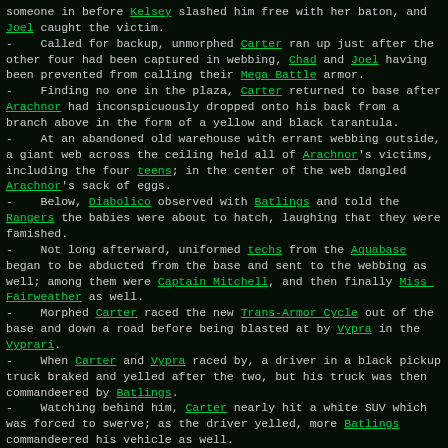someone in before Kelsey slashed him free with her baton, and Joel caught the victim.
-    Called for backup, unmorphed Carter ran up just after the other four had been captured in webbing, Chad and Joel having been prevented from calling their Mega Battle armor.
-    Finding no one in the plaza, Carter returned to base after Arachnor had inconspicuously dropped onto his back from a branch above in the form of a yellow and black tarantula.
-    At an abandoned old warehouse with errant webbing outside, a giant web across the ceiling held all of Arachnor's victims, including the four teens; in the center of the web dangled Arachnor's sack of eggs.
-    Below, Diabolico observed with Batlings and told the Rangers the babies were about to hatch, laughing that they were famished.
-    Not long afterward, uniformed techs from the Aquabase began to be abducted from the base and sent to the webbing as well; among them were Captain Mitchell, and then finally Miss Fairweather as well.
-    Morphed Carter raced the new Trans-Armor Cycle out of the base and down a road before being blasted at by Vypra in the Vyprari.
-    When Carter and Vypra raced by, a driver in a black pickup truck braked and yelled after the two, but his truck was then commandeered by Batlings.
-    Watching behind him, Carter nearly hit a white SUV which was forced to swerve; as the driver yelled, more Batlings commandeered his vehicle as well.
-    Meanwhile, Carter had done a U-turn, and Vypra had